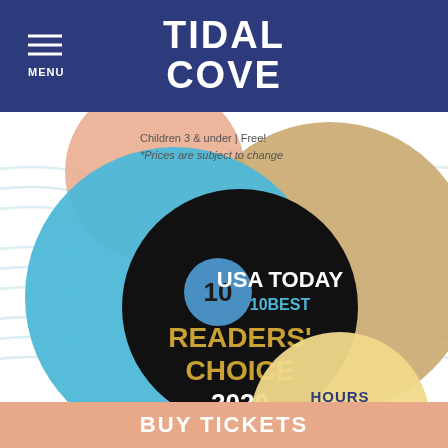TIDAL COVE
[Figure (infographic): USA Today 10Best Readers' Choice 2020 award badge displayed on a circular graphic with blue, gold/tan, and black circles, alongside decorative wave patterns and colored circle shapes. Includes hours info: Pools & Retail, Monday - Thursday | 9am - 6pm. Text overlays: Children 3 & under | Free! *Prices are subject to change]
Children 3 & under | Free! *Prices are subject to change
HOURS
Pools & Retail
Monday - Thursday | 9am - 6pm
BUY TICKETS